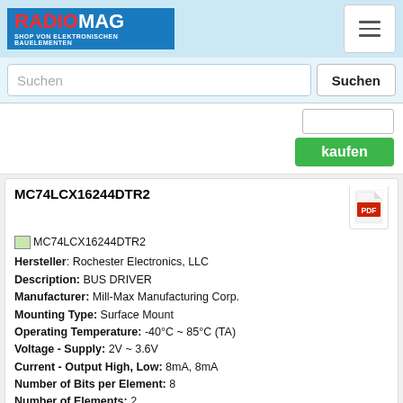RADIOMAG - SHOP VON ELEKTRONISCHEN BAUELEMENTEN
Suchen
kaufen
MC74LCX16244DTR2
Hersteller: Rochester Electronics, LLC
Description: BUS DRIVER
Manufacturer: Mill-Max Manufacturing Corp.
Mounting Type: Surface Mount
Operating Temperature: -40°C ~ 85°C (TA)
Voltage - Supply: 2V ~ 3.6V
Current - Output High, Low: 8mA, 8mA
Number of Bits per Element: 8
Number of Elements: 2
Logic Type: Buffer, Non-Inverting
Part Status: Obsolete
Packaging: Bulk
Supplier Device Package: 48-TSSOP
Package / Case: 48-TFSOP (0.240", 6.10mm Width)
auf Bestellung 241510 Stücke